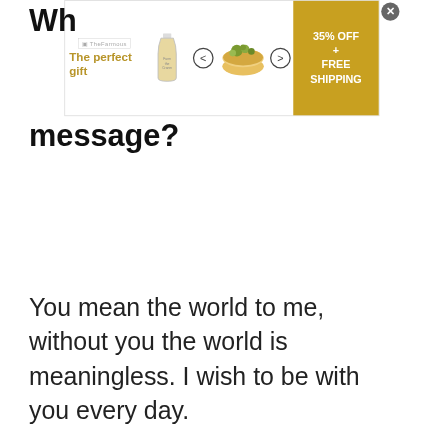[Figure (screenshot): Advertisement banner: 'The perfect gift' with food imagery, navigation arrows, and '35% OFF + FREE SHIPPING' call-to-action button in gold/amber color. Close button (X) in top right.]
What is the Best Love message?
You mean the world to me, without you the world is meaningless. I wish to be with you every day.
What is the Best Romantic Love Messages for your Lover?
This is the sweetest thing that ever happened in my life. Meeting you...
[Figure (screenshot): Video player overlay modal with message 'No compatible source was found for this' and a large X close button. Semi-transparent dark background.]